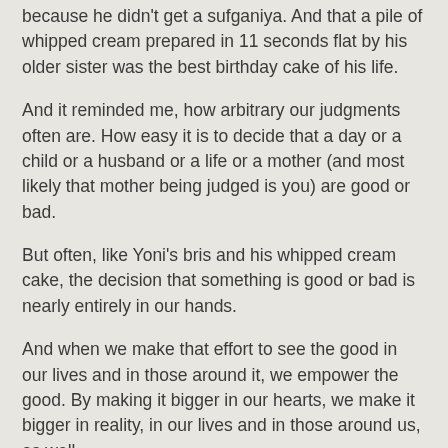because he didn't get a sufganiya. And that a pile of whipped cream prepared in 11 seconds flat by his older sister was the best birthday cake of his life.
And it reminded me, how arbitrary our judgments often are. How easy it is to decide that a day or a child or a husband or a life or a mother (and most likely that mother being judged is you) are good or bad.
But often, like Yoni's bris and his whipped cream cake, the decision that something is good or bad is nearly entirely in our hands.
And when we make that effort to see the good in our lives and in those around it, we empower the good. By making it bigger in our hearts, we make it bigger in reality, in our lives and in those around us, as well.
Related posts: